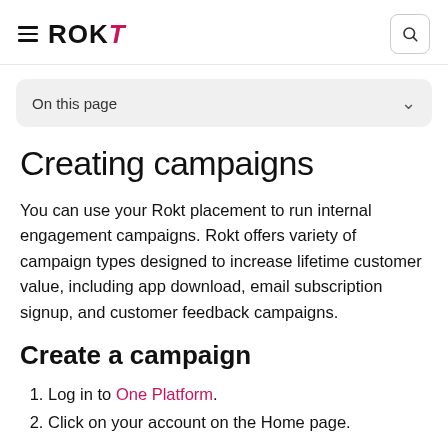ROKT
On this page
Creating campaigns
You can use your Rokt placement to run internal engagement campaigns. Rokt offers variety of campaign types designed to increase lifetime customer value, including app download, email subscription signup, and customer feedback campaigns.
Create a campaign
1. Log in to One Platform.
2. Click on your account on the Home page.